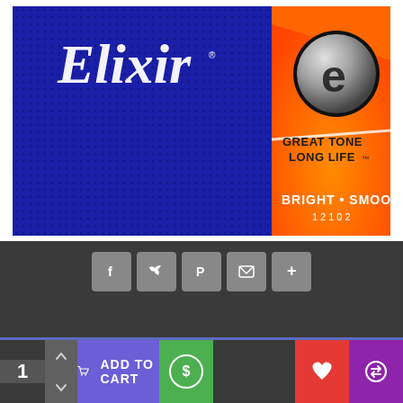[Figure (photo): Elixir guitar strings product packaging — blue textured background on left with 'Elixir' brand name in white cursive font; orange panel on right with silver 'e' logo circle, text 'GREAT TONE LONG LIFE', 'BRIGHT • SMOOTH', and '12102']
[Figure (infographic): Social share buttons row: Facebook (f), Twitter bird, Pinterest (P), Email (envelope), and plus (+) icons, all as light grey square buttons]
REVIEWS
[Figure (infographic): Bottom add-to-cart bar: quantity selector showing '1' with up/down arrows, blue-purple 'ADD TO CART' button with cart icon, green circle dollar button, red heart/wishlist button, purple swap/compare button]